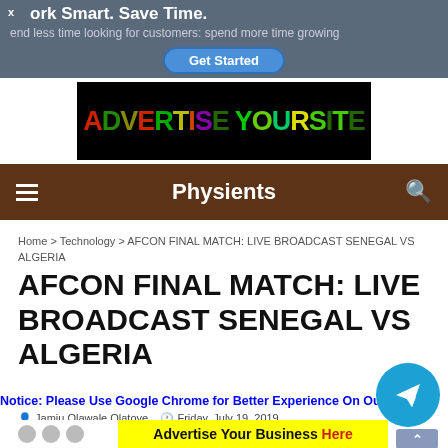[Figure (screenshot): Ad banner at top: 'Work Smart. Save Time. Spend less time looking for customers; spend more time growing. Get Started button on blue pill.']
[Figure (screenshot): Advertise Your Site banner image with colorful letters on black background.]
Physients
Home > Technology > AFCON FINAL MATCH: LIVE BROADCAST SENEGAL VS ALGERIA
AFCON FINAL MATCH: LIVE BROADCAST SENEGAL VS ALGERIA
Notice: Please Use Google Chrome for Better Experience On Our D
Jamiu Olawale Olatoye   Friday, July 19, 2019
[Figure (screenshot): Yellow ad banner: Advertise Your Business Here]